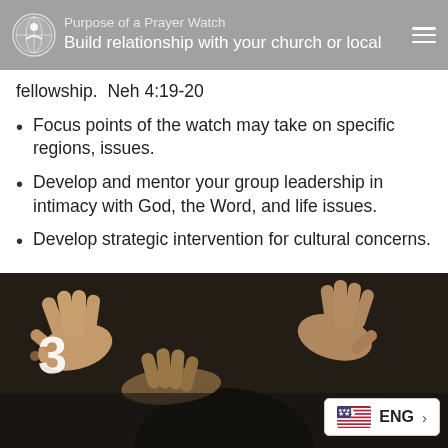Purpose of a Prayer Watch
Build relationship with your church or local fellowship.  Neh 4:19-20
Focus points of the watch may take on specific regions, issues.
Develop and mentor your group leadership in intimacy with God, the Word, and life issues.
Develop strategic intervention for cultural concerns.
[Figure (photo): Close-up photo of hands laid in prayer on a person's head, with a large number 3 visible in the upper-left. A language selector widget shows ENG with a US flag in the lower-right corner.]